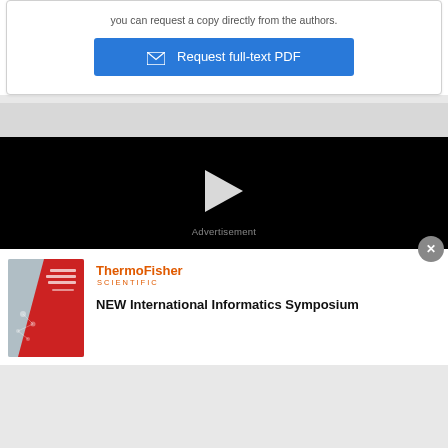you can request a copy directly from the authors.
[Figure (screenshot): Blue button labeled 'Request full-text PDF' with an envelope icon]
[Figure (screenshot): Black video player area with a white play button triangle and 'Advertisement' label, and a gray close (x) button]
[Figure (screenshot): Advertisement for ThermoFisher Scientific NEW International Informatics Symposium, showing a red booklet cover image, ThermoFisher Scientific logo, and bold title text]